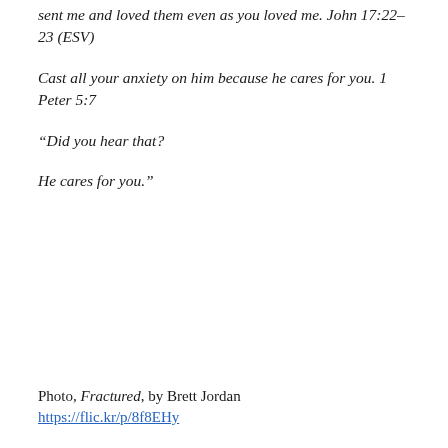sent me and loved them even as you loved me. John 17:22–23 (ESV)
Cast all your anxiety on him because he cares for you. 1 Peter 5:7
“Did you hear that?
He cares for you.”
Photo, Fractured, by Brett Jordan
https://flic.kr/p/8f8EHy